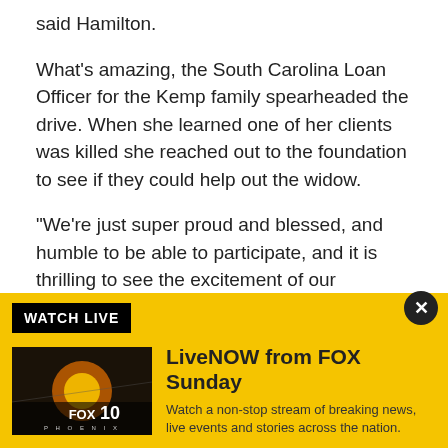said Hamilton.
What's amazing, the South Carolina Loan Officer for the Kemp family spearheaded the drive. When she learned one of her clients was killed she reached out to the foundation to see if they could help out the widow.
"We're just super proud and blessed, and humble to be able to participate, and it is thrilling to see the excitement of our employees," he said.
For every dollar, they raise the non-profit group "Movement Foundation" will match it with another
[Figure (screenshot): WATCH LIVE banner ad for LiveNOW from FOX Sunday with FOX 10 Phoenix thumbnail image. Text reads: Watch a non-stop stream of breaking news, live events and stories across the nation.]